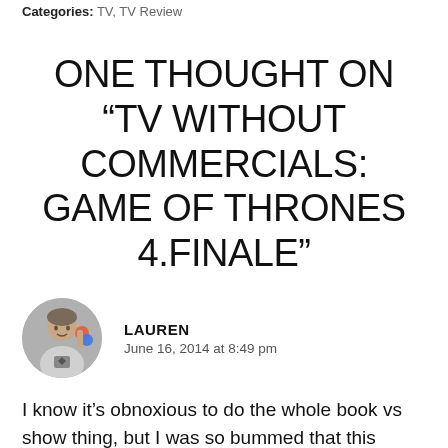Categories: TV, TV Review
ONE THOUGHT ON “TV WITHOUT COMMERCIALS: GAME OF THRONES 4.FINALE”
LAUREN
June 16, 2014 at 8:49 pm
I know it’s obnoxious to do the whole book vs show thing, but I was so bummed that this season did not include the ending of book 3. I